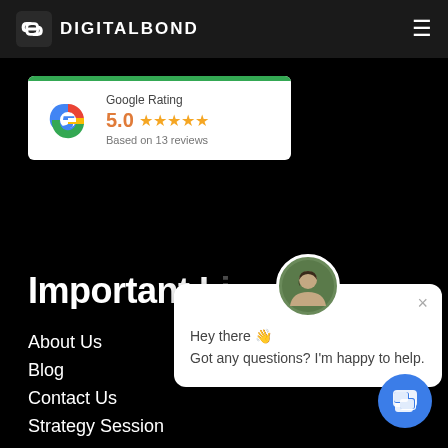DIGITALBOND
[Figure (logo): Google Rating widget showing 5.0 stars based on 13 reviews]
Important Li...
About Us
Blog
Contact Us
Strategy Session
[Figure (screenshot): Chat popup widget with avatar photo. Text: Hey there 👋 Got any questions? I'm happy to help.]